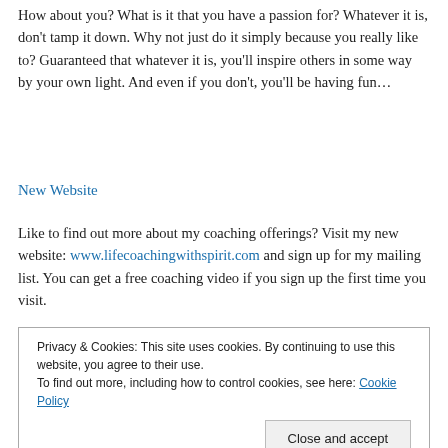How about you? What is it that you have a passion for? Whatever it is, don't tamp it down. Why not just do it simply because you really like to? Guaranteed that whatever it is, you'll inspire others in some way by your own light. And even if you don't, you'll be having fun…
New Website
Like to find out more about my coaching offerings? Visit my new website: www.lifecoachingwithspirit.com and sign up for my mailing list. You can get a free coaching video if you sign up the first time you visit.
Privacy & Cookies: This site uses cookies. By continuing to use this website, you agree to their use.
To find out more, including how to control cookies, see here: Cookie Policy